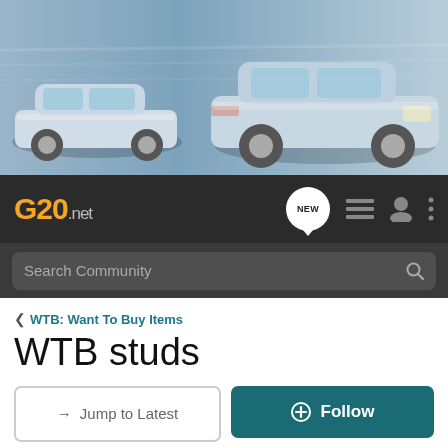[Figure (photo): Hero banner showing two silver sedans side by side on a blurred road background]
G20.net — navigation bar with NEW, list, user, and menu icons, and a Search Community search bar
< WTB: Want To Buy Items
WTB studs
→ Jump to Latest | ⊕ Follow
1 - 9 of 9 Posts
Seannnn · Registered
Joined Oct 19, 2011 · 482 Posts